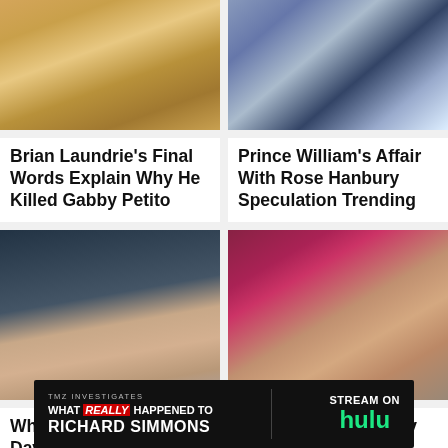[Figure (photo): Close-up photo of a smiling blonde woman (Gabby Petito)]
[Figure (photo): Photo of Prince William with Rose Hanbury]
Brian Laundrie's Final Words Explain Why He Killed Gabby Petito
Prince William's Affair With Rose Hanbury Speculation Trending
[Figure (photo): Close-up photo of Pete Davidson]
[Figure (photo): Photo of two actors kissing]
What All Of Pete Davidson's Exes Ha
Actors Who Basically Co-
[Figure (screenshot): TMZ Investigates advertisement: WHAT REALLY HAPPENED TO RICHARD SIMMONS — Stream on Hulu]